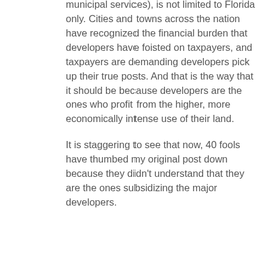municipal services), is not limited to Florida only. Cities and towns across the nation have recognized the financial burden that developers have foisted on taxpayers, and taxpayers are demanding developers pick up their true posts. And that is the way that it should be because developers are the ones who profit from the higher, more economically intense use of their land.
It is staggering to see that now, 40 fools have thumbed my original post down because they didn't understand that they are the ones subsidizing the major developers.